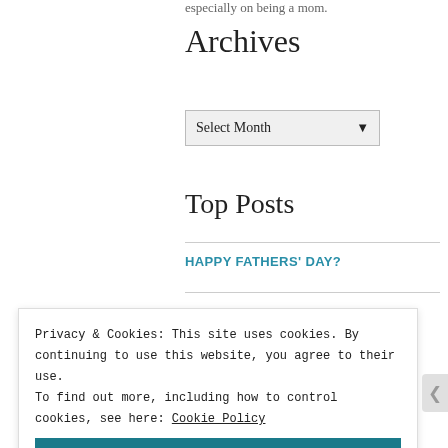especially on being a mom.
Archives
Select Month
Top Posts
HAPPY FATHERS' DAY?
Privacy & Cookies: This site uses cookies. By continuing to use this website, you agree to their use.
To find out more, including how to control cookies, see here: Cookie Policy
Close and accept